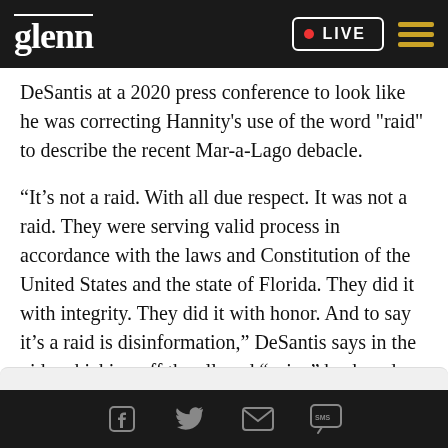glenn • LIVE
DeSantis at a 2020 press conference to look like he was correcting Hannity's use of the word "raid" to describe the recent Mar-a-Lago debacle.
“It’s not a raid. With all due respect. It was not a raid. They were serving valid process in accordance with the laws and Constitution of the United States and the state of Florida. They did it with integrity. They did it with honor. And to say it’s a raid is disinformation,” DeSantis says in the video, kicking off the alleged “spicy” back and forth.
Social share icons: Facebook, Twitter, Email, SMS